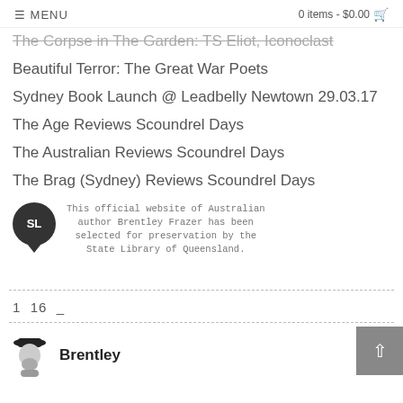☰ MENU | 0 items - $0.00 🛒
The Corpse in The Garden: TS Eliot, Iconoclast
Beautiful Terror: The Great War Poets
Sydney Book Launch @ Leadbelly Newtown 29.03.17
The Age Reviews Scoundrel Days
The Australian Reviews Scoundrel Days
The Brag (Sydney) Reviews Scoundrel Days
[Figure (logo): SL speech bubble logo with text: This official website of Australian author Brentley Frazer has been selected for preservation by the State Library of Queensland.]
1 16 _
Brentley